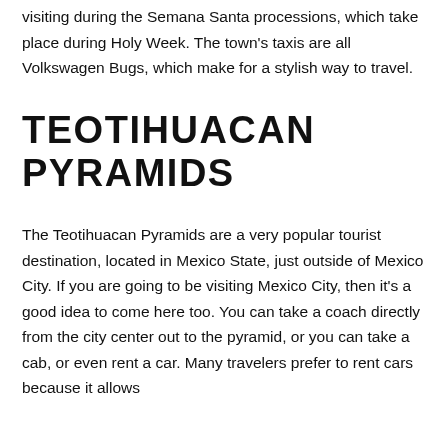visiting during the Semana Santa processions, which take place during Holy Week. The town's taxis are all Volkswagen Bugs, which make for a stylish way to travel.
TEOTIHUACAN PYRAMIDS
The Teotihuacan Pyramids are a very popular tourist destination, located in Mexico State, just outside of Mexico City. If you are going to be visiting Mexico City, then it's a good idea to come here too. You can take a coach directly from the city center out to the pyramid, or you can take a cab, or even rent a car. Many travelers prefer to rent cars because it allows